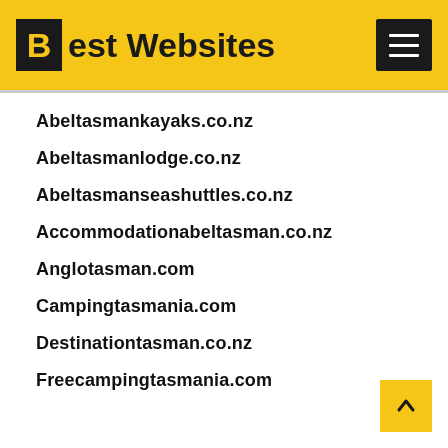Best Websites
Abeltasmankayaks.co.nz
Abeltasmanlodge.co.nz
Abeltasmanseashuttles.co.nz
Accommodationabeltasman.co.nz
Anglotasman.com
Campingtasmania.com
Destinationtasman.co.nz
Freecampingtasmania.com